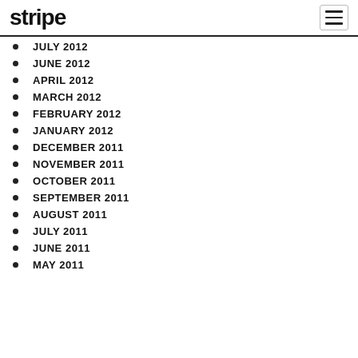stripe
JULY 2012
JUNE 2012
APRIL 2012
MARCH 2012
FEBRUARY 2012
JANUARY 2012
DECEMBER 2011
NOVEMBER 2011
OCTOBER 2011
SEPTEMBER 2011
AUGUST 2011
JULY 2011
JUNE 2011
MAY 2011